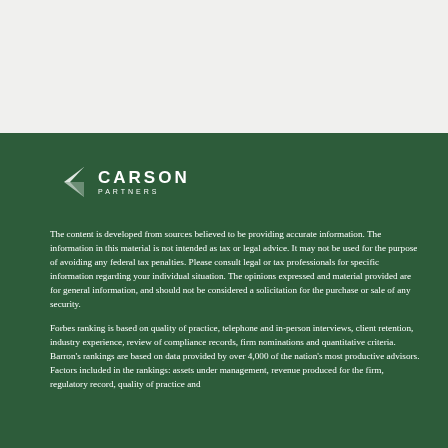[Figure (logo): Carson Partners logo — white arrow/chevron icon on left, text CARSON in bold caps with PARTNERS below in smaller spaced caps]
The content is developed from sources believed to be providing accurate information. The information in this material is not intended as tax or legal advice. It may not be used for the purpose of avoiding any federal tax penalties. Please consult legal or tax professionals for specific information regarding your individual situation. The opinions expressed and material provided are for general information, and should not be considered a solicitation for the purchase or sale of any security.
Forbes ranking is based on quality of practice, telephone and in-person interviews, client retention, industry experience, review of compliance records, firm nominations and quantitative criteria. Barron's rankings are based on data provided by over 4,000 of the nation's most productive advisors. Factors included in the rankings: assets under management, revenue produced for the firm, regulatory record, quality of practice and